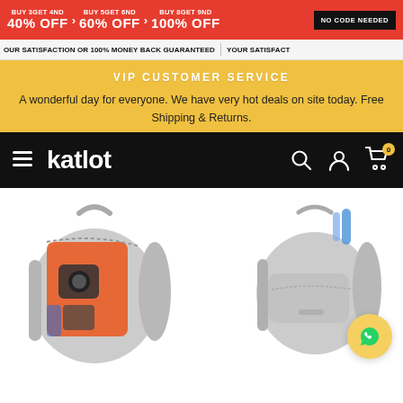BUY 3GET 4ND 40% OFF > BUY 5GET 6ND 60% OFF > BUY 8GET 9ND 100% OFF | NO CODE NEEDED
OUR SATISFACTION OR 100% MONEY BACK GUARANTEED | YOUR SATISFACT
VIP CUSTOMER SERVICE
A wonderful day for everyone. We have very hot deals on site today. Free Shipping & Returns.
katlot — navigation bar with search, account, cart icons
[Figure (photo): Two gray camera backpacks side by side. Left backpack is open showing orange interior with camera equipment. Right backpack is closed showing exterior. WhatsApp chat button overlay in bottom right corner.]